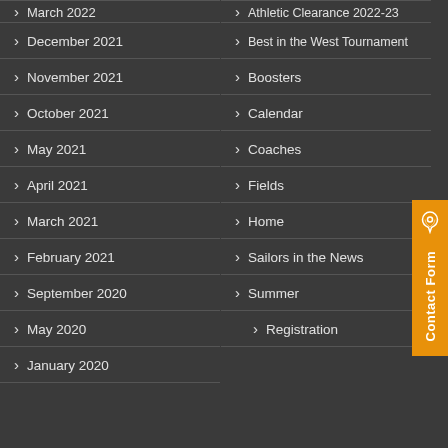March 2022
December 2021
November 2021
October 2021
May 2021
April 2021
March 2021
February 2021
September 2020
May 2020
January 2020
Athletic Clearance 2022-23
Best in the West Tournament
Boosters
Calendar
Coaches
Fields
Home
Sailors in the News
Summer
Registration